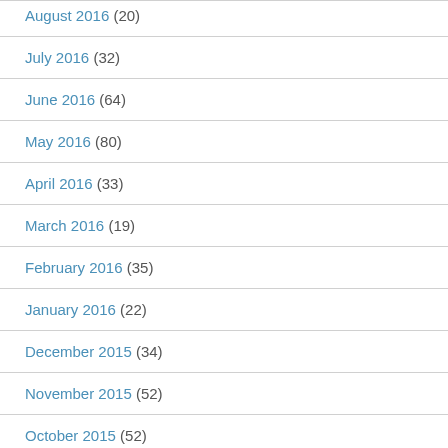August 2016 (20)
July 2016 (32)
June 2016 (64)
May 2016 (80)
April 2016 (33)
March 2016 (19)
February 2016 (35)
January 2016 (22)
December 2015 (34)
November 2015 (52)
October 2015 (52)
September 2015 (70)
August 2015 (75)
July 2015 (47)
June 2015 (38)